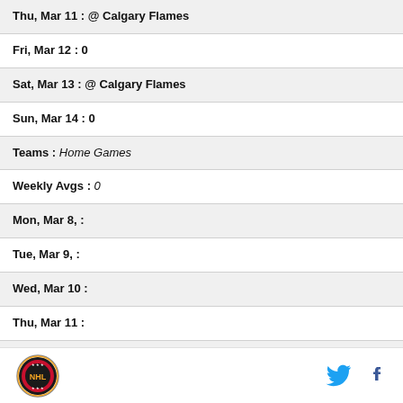| Thu, Mar 11 : @ Calgary Flames |
| Fri, Mar 12 : 0 |
| Sat, Mar 13 : @ Calgary Flames |
| Sun, Mar 14 : 0 |
| Teams : Home Games |
| Weekly Avgs : 0 |
| Mon, Mar 8, : |
| Tue, Mar 9, : |
| Wed, Mar 10 : |
| Thu, Mar 11 : |
| Fri, Mar 12 : |
| Sat, Mar 13 : |
Logo, Twitter, Facebook icons